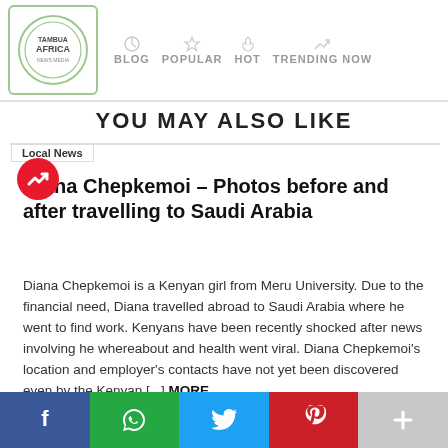TAMBU AFRICA — BLOG  POPULAR  HOT  TRENDING NOW
YOU MAY ALSO LIKE
Local News
Diana Chepkemoi – Photos before and after travelling to Saudi Arabia
Diana Chepkemoi is a Kenyan girl from Meru University. Due to the financial need, Diana travelled abroad to Saudi Arabia where he went to find work. Kenyans have been recently shocked after news involving he whereabout and health went viral. Diana Chepkemoi's location and employer's contacts have not yet been discovered even by the Kenyan [...] MORE
03 September 2022 - 14:01 PM, 2:01 PM
f  WhatsApp  Twitter  Pinterest  +